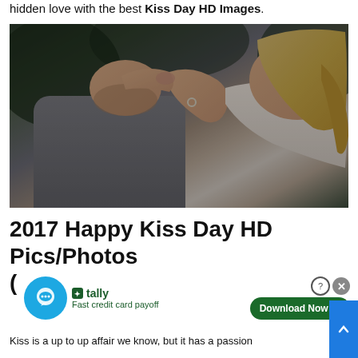hidden love with the best Kiss Day HD Images.
[Figure (photo): A couple kissing closely, the woman wearing a ring on her hand placed on the man's chest, both in soft neutral clothing against a green/dark background.]
2017 Happy Kiss Day HD Pics/Photos ( :-)
[Figure (infographic): Ad overlay: chat bubble icon, Tally fast credit card payoff ad, Download Now button with help and close icons.]
Kiss is a up to up affair we know, but it has a passion